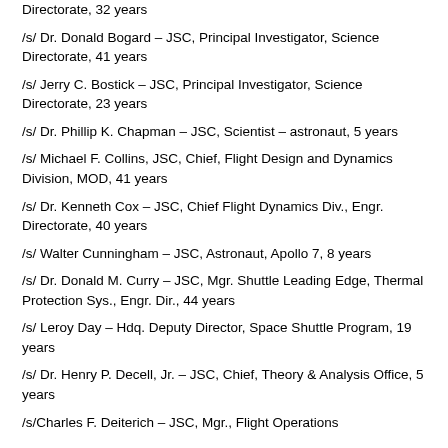Directorate, 32 years
/s/ Dr. Donald Bogard – JSC, Principal Investigator, Science Directorate, 41 years
/s/ Jerry C. Bostick – JSC, Principal Investigator, Science Directorate, 23 years
/s/ Dr. Phillip K. Chapman – JSC, Scientist – astronaut, 5 years
/s/ Michael F. Collins, JSC, Chief, Flight Design and Dynamics Division, MOD, 41 years
/s/ Dr. Kenneth Cox – JSC, Chief Flight Dynamics Div., Engr. Directorate, 40 years
/s/ Walter Cunningham – JSC, Astronaut, Apollo 7, 8 years
/s/ Dr. Donald M. Curry – JSC, Mgr. Shuttle Leading Edge, Thermal Protection Sys., Engr. Dir., 44 years
/s/ Leroy Day – Hdq. Deputy Director, Space Shuttle Program, 19 years
/s/ Dr. Henry P. Decell, Jr. – JSC, Chief, Theory & Analysis Office, 5 years
/s/Charles F. Deiterich – JSC, Mgr., Flight Operations